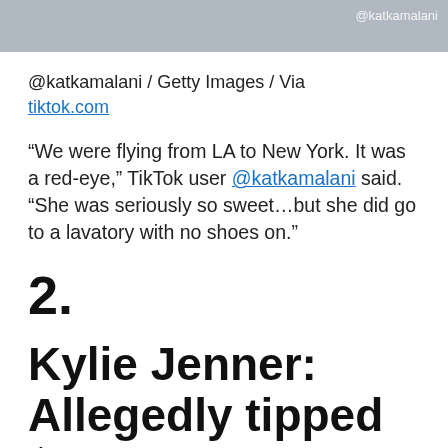[Figure (photo): Partial photo strip at top of page, showing blurred person, gray/blue tones with @katkamalani watermark in white text at top right.]
@katkamalani / Getty Images / Via tiktok.com
“We were flying from LA to New York. It was a red-eye,” TikTok user @katkamalani said. “She was seriously so sweet…but she did go to a lavatory with no shoes on.”
2.
Kylie Jenner: Allegedly tipped $20